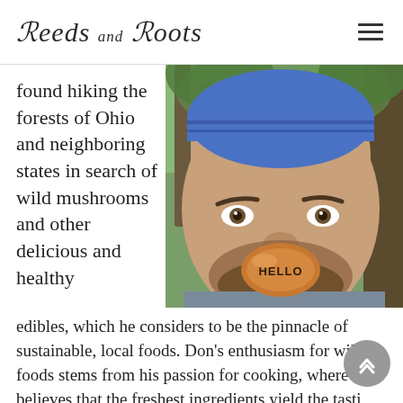Reeds and Roots
found hiking the forests of Ohio and neighboring states in search of wild mushrooms and other delicious and healthy edibles, which he considers to be the pinnacle of sustainable, local foods. Don's enthusiasm for wild foods stems from his passion for cooking, where he believes that the freshest ingredients yield the tastiest results. This philosophy has led to five Vegan Iron Chef
[Figure (photo): Close-up photo of a bearded man wearing a blue bandana on his head, holding a mushroom with the word HELLO written on it up to his face, outdoors in a forested setting.]